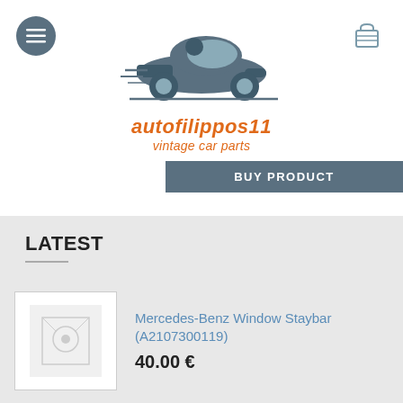[Figure (logo): Autofilippos11 vintage car parts logo with vintage car illustration]
BUY PRODUCT
LATEST
Mercedes-Benz Window Staybar (A2107300119)
40.00 €
Mercedes-Benz Cover (A2025053988)
10.00 €
Mercedes-Benz Feder (A2029800164)